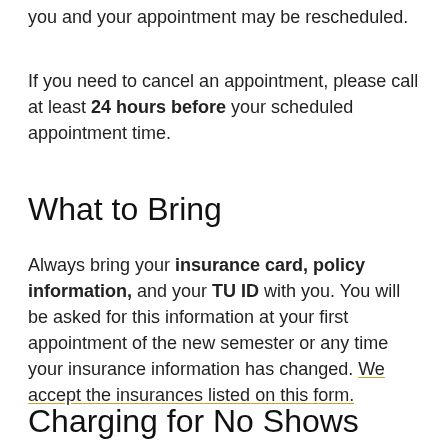you and your appointment may be rescheduled.
If you need to cancel an appointment, please call at least 24 hours before your scheduled appointment time.
What to Bring
Always bring your insurance card, policy information, and your TU ID with you. You will be asked for this information at your first appointment of the new semester or any time your insurance information has changed. We accept the insurances listed on this form.
Charging for No Shows